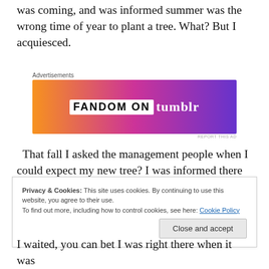was coming, and was informed summer was the wrong time of year to plant a tree. What? But I acquiesced.
[Figure (other): Advertisement banner for Fandom on Tumblr with colorful gradient background (orange to purple). Text reads 'FANDOM ON tumblr'. Labeled 'Advertisements' above and 'REPORT THIS AD' below.]
That fall I asked the management people when I could expect my new tree? I was informed there was no plan to get me a tree. If I wanted a tree, I shouldn't have had the others taken out. What? Again. I screamed, “It wasn’t my idea!” but were they unwilling to listen?
Privacy & Cookies: This site uses cookies. By continuing to use this website, you agree to their use.
To find out more, including how to control cookies, see here: Cookie Policy
I waited, you can bet I was right there when it was